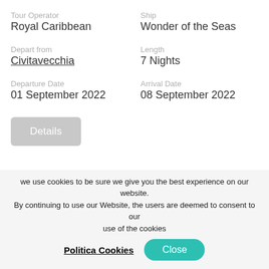Tour Operator
Royal Caribbean
Ship
Wonder of the Seas
Depart from
Civitavecchia
Length
7 Nights
Departure Date
01 September 2022
Arrival Date
08 September 2022
Details
[Figure (logo): Royal Caribbean International logo — blue background with gold anchor and crown symbol, text 'RoyalCaribbean INTERNATIONAL' in white and gold]
[Figure (map): Teal/turquoise map showing parts of Europe including France, Schweiz/Suisse/Svizzera/Svizra, Österreich, Magyaror (Hungary), with country border lines and labels]
we use cookies to be sure we give you the best experience on our website. By continuing to use our Website, the users are deemed to consent to our use of the cookies
Politica Cookies
Close